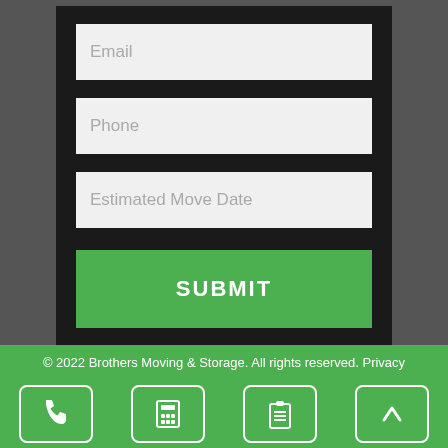[Figure (screenshot): Web form with Email, Phone, Estimated Move Date fields and a green SUBMIT button on dark background]
© 2022 Brothers Moving & Storage. All rights reserved. Privacy
[Figure (infographic): Bottom navigation bar with phone, calculator, clipboard, and up-arrow icons in white on green background]